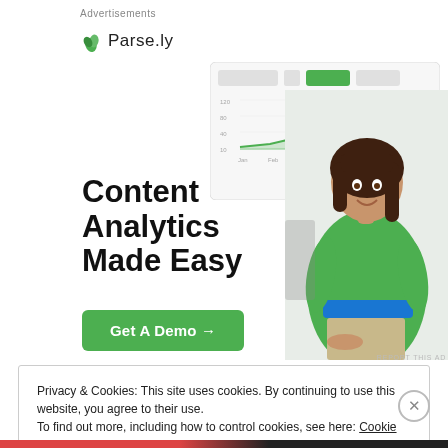Advertisements
[Figure (logo): Parse.ly logo with green leaf icon and 'Parse.ly' text]
[Figure (screenshot): Parse.ly analytics dashboard screenshot showing a line chart with green area chart, with form controls above]
[Figure (photo): Woman in green top smiling, standing in an office environment]
Content Analytics Made Easy
Get A Demo →
REPORT THIS AD
Privacy & Cookies: This site uses cookies. By continuing to use this website, you agree to their use.
To find out more, including how to control cookies, see here: Cookie Policy
Close and accept